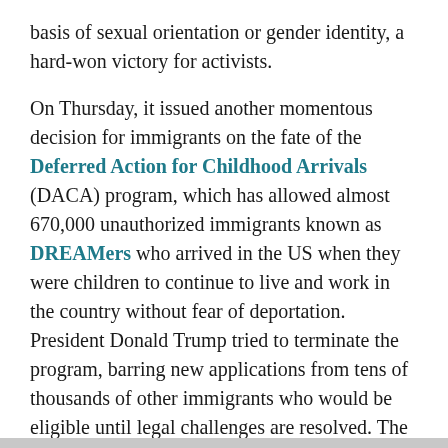basis of sexual orientation or gender identity, a hard-won victory for activists.
On Thursday, it issued another momentous decision for immigrants on the fate of the Deferred Action for Childhood Arrivals (DACA) program, which has allowed almost 670,000 unauthorized immigrants known as DREAMers who arrived in the US when they were children to continue to live and work in the country without fear of deportation. President Donald Trump tried to terminate the program, barring new applications from tens of thousands of other immigrants who would be eligible until legal challenges are resolved. The Supreme Court ruled that Trump may not immediately terminate the program.